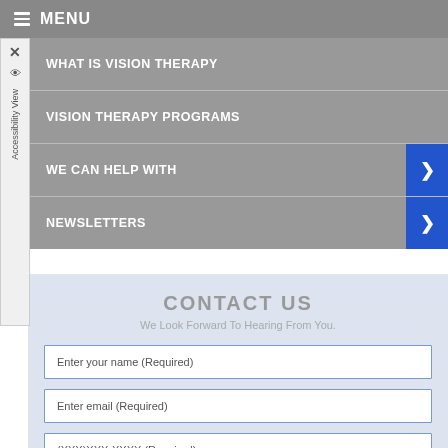≡ MENU
WHAT IS VISION THERAPY
VISION THERAPY PROGRAMS
WE CAN HELP WITH
NEWSLETTERS
CONTACT US
We Look Forward To Hearing From You.
Enter your name (Required)
Enter email (Required)
(XXX)XXX-XXXX (Required)